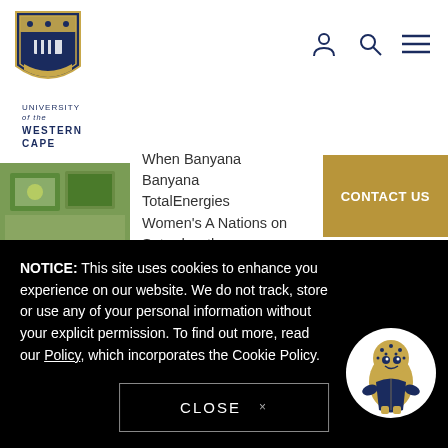[Figure (logo): University of the Western Cape shield logo with text 'UNIVERSITY of the WESTERN CAPE']
When Banyana Banyana TotalEnergies Women's Africa Nations on Saturday, there was extra...
CONTACT US
UWC Programmes Paying-Off Athletes Get National Call-Up
UWC's goal to produce athletes who achieve at the international level...
NOTICE: This site uses cookies to enhance you experience on our website. We do not track, store or use any of your personal information without your explicit permission. To find out more, read our Policy, which incorporates the Cookie Policy.
CLOSE ×